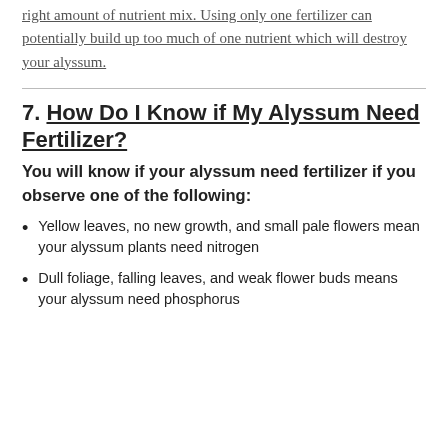right amount of nutrient mix. Using only one fertilizer can potentially build up too much of one nutrient which will destroy your alyssum.
7. How Do I Know if My Alyssum Need Fertilizer?
You will know if your alyssum need fertilizer if you observe one of the following:
Yellow leaves, no new growth, and small pale flowers mean your alyssum plants need nitrogen
Dull foliage, falling leaves, and weak flower buds means your alyssum need phosphorus